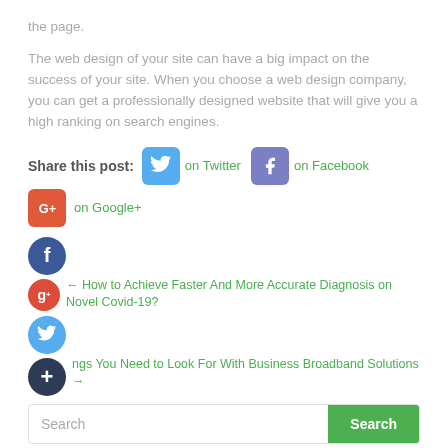the page.
The web design of your site can have a big impact on the success of your site. When you choose a web design company, you can get a professionally designed website that will give you a high ranking on search engines.
Share this post: on Twitter on Facebook on Google+
← How to Achieve Faster And More Accurate Diagnosis on Novel Covid-19?
ngs You Need to Look For With Business Broadband Solutions →